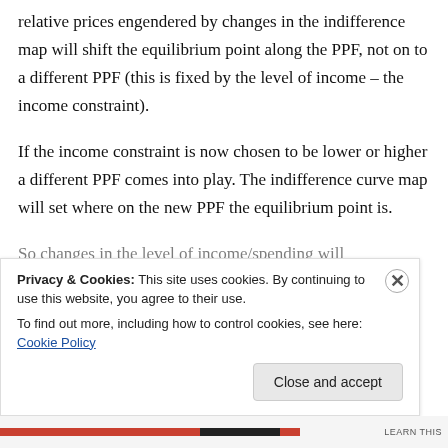relative prices engendered by changes in the indifference map will shift the equilibrium point along the PPF, not on to a different PPF (this is fixed by the level of income – the income constraint).
If the income constraint is now chosen to be lower or higher a different PPF comes into play. The indifference curve map will set where on the new PPF the equilibrium point is.
So changes in the level of income/spending will
Privacy & Cookies: This site uses cookies. By continuing to use this website, you agree to their use. To find out more, including how to control cookies, see here: Cookie Policy